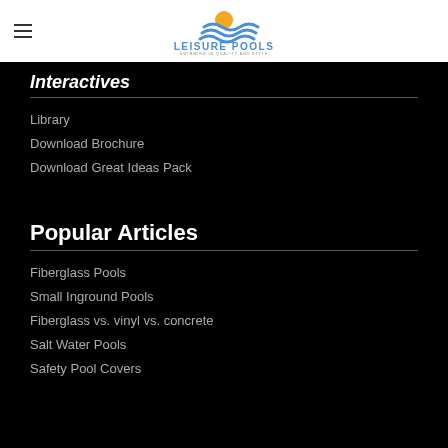Leisure Pools — Swimming in Quality and Style
Interactives
Library
Download Brochure
Download Great Ideas Pack
Popular Articles
Fiberglass Pools
Small Inground Pools
Fiberglass vs. vinyl vs. concrete
Salt Water Pools
Safety Pool Covers